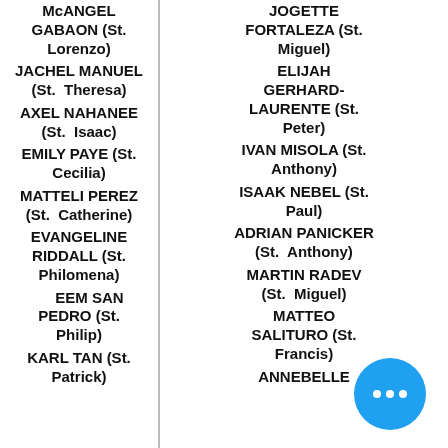McANGEL GABAON (St. Lorenzo)
JACHEL MANUEL (St. Theresa)
AXEL NAHANEE (St. Isaac)
EMILY PAYE (St. Cecilia)
MATTELI PEREZ (St. Catherine)
EVANGELINE RIDDALL (St. Philomena)
RAHEEM SAN PEDRO (St. Philip)
KARL TAN (St. Patrick)
JOGETTE FORTALEZA (St. Miguel)
ELIJAH GERHARD-LAURENTE (St. Peter)
IVAN MISOLA (St. Anthony)
ISAAK NEBEL (St. Paul)
ADRIAN PANICKER (St. Anthony)
MARTIN RADEV (St. Miguel)
MATTEO SALITURO (St. Francis)
ANNEBELLE